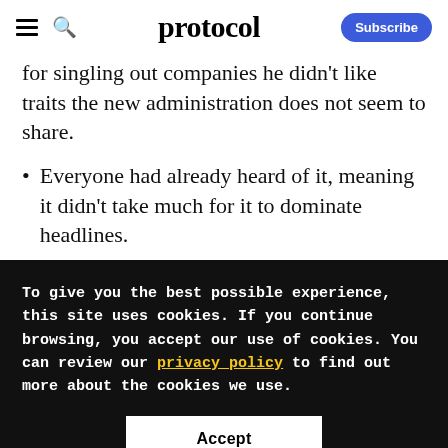protocol
for singling out companies he didn't like traits the new administration does not seem to share.
Everyone had already heard of it, meaning it didn't take much for it to dominate headlines.
To give you the best possible experience, this site uses cookies. If you continue browsing, you accept our use of cookies. You can review our privacy policy to find out more about the cookies we use.
Accept